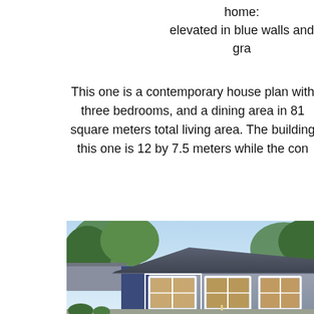home: elevated in blue walls and gra
This one is a contemporary house plan with three bedrooms, and a dining area in 81 square meters total living area. The building this one is 12 by 7.5 meters while the con
[Figure (photo): Exterior rendering of a contemporary single-story house with a dark gray hip roof, blue and gray walls, white-trimmed large windows, surrounded by green trees and a paved driveway with landscaped garden.]